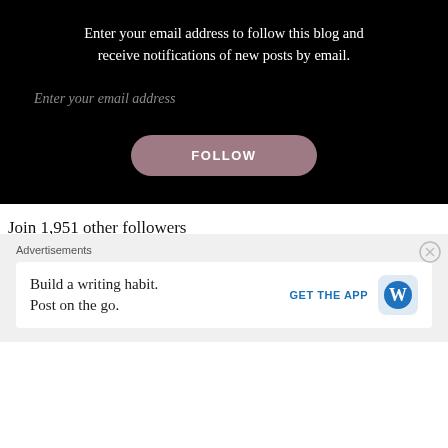Enter your email address to follow this blog and receive notifications of new posts by email.
Enter your email address
FOLLOW
Join 1,951 other followers
BLOG STATS
Advertisements
Build a writing habit. Post on the go.
GET THE APP